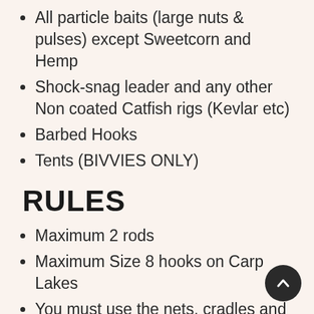All particle baits (large nuts & pulses) except Sweetcorn and Hemp
Shock-snag leader and any other Non coated Catfish rigs (Kevlar etc)
Barbed Hooks
Tents (BIVVIES ONLY)
RULES
Maximum 2 rods
Maximum Size 8 hooks on Carp Lakes
You must use the nets, cradles and slings provided
There is no pole fishing on the lake and your rods must be strong enough for big carp. quiver tips etc.